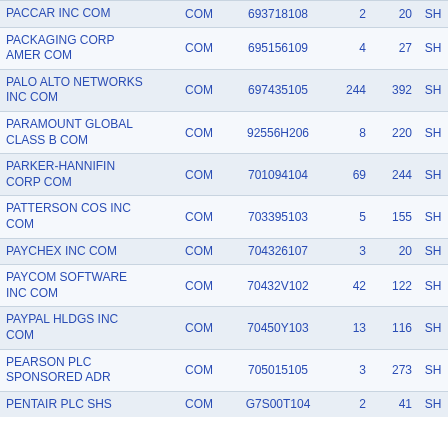| PACCAR INC COM | COM | 693718108 | 2 | 20 | SH |
| PACKAGING CORP AMER COM | COM | 695156109 | 4 | 27 | SH |
| PALO ALTO NETWORKS INC COM | COM | 697435105 | 244 | 392 | SH |
| PARAMOUNT GLOBAL CLASS B COM | COM | 92556H206 | 8 | 220 | SH |
| PARKER-HANNIFIN CORP COM | COM | 701094104 | 69 | 244 | SH |
| PATTERSON COS INC COM | COM | 703395103 | 5 | 155 | SH |
| PAYCHEX INC COM | COM | 704326107 | 3 | 20 | SH |
| PAYCOM SOFTWARE INC COM | COM | 70432V102 | 42 | 122 | SH |
| PAYPAL HLDGS INC COM | COM | 70450Y103 | 13 | 116 | SH |
| PEARSON PLC SPONSORED ADR | COM | 705015105 | 3 | 273 | SH |
| PENTAIR PLC SHS | COM | G7S00T104 | 2 | 41 | SH |